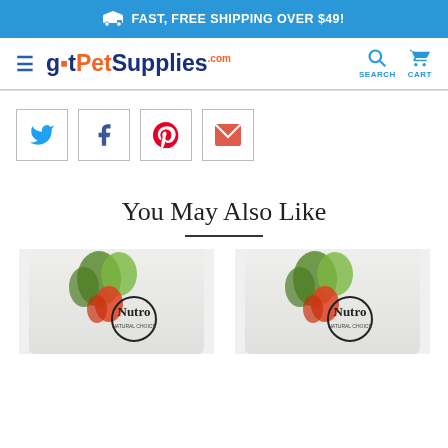🚚 FAST, FREE SHIPPING OVER $49!
[Figure (logo): gotPetSupplies.com logo with hamburger menu, search and cart icons]
[Figure (infographic): Social sharing buttons: Twitter, Facebook, Pinterest, Email]
You May Also Like
[Figure (photo): Nutro Natural Choice dog food bag - left product]
[Figure (photo): Nutro Natural Choice dog food bag - right product]